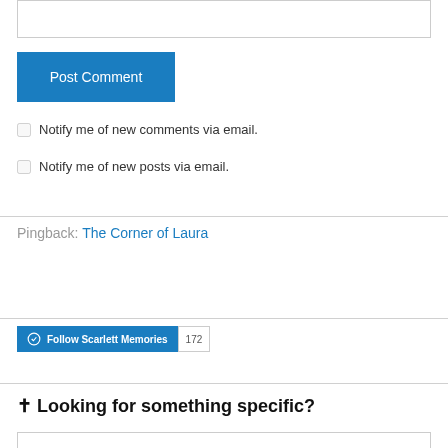[text input box]
Post Comment
Notify me of new comments via email.
Notify me of new posts via email.
Pingback: The Corner of Laura
Follow Scarlett Memories  172
✝ Looking for something specific?